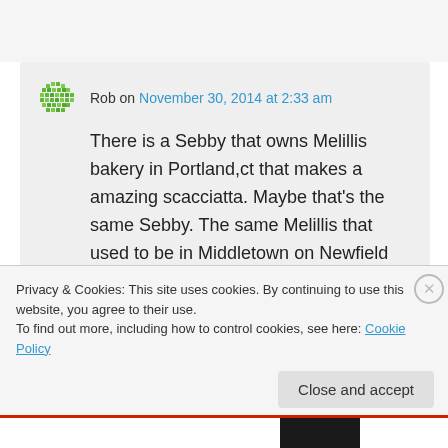Rob on November 30, 2014 at 2:33 am
There is a Sebby that owns Melillis bakery in Portland,ct that makes a amazing scacciatta. Maybe that's the same Sebby. The same Melillis that used to be in Middletown on Newfield street.
★ Like
Privacy & Cookies: This site uses cookies. By continuing to use this website, you agree to their use. To find out more, including how to control cookies, see here: Cookie Policy
Close and accept